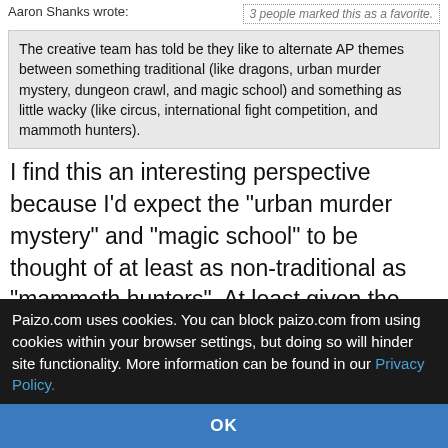Aaron Shanks wrote:
3 people marked this as a favorite.
The creative team has told be they like to alternate AP themes between something traditional (like dragons, urban murder mystery, dungeon crawl, and magic school) and something as little wacky (like circus, international fight competition, and mammoth hunters).
I find this an interesting perspective because I'd expect the "urban murder mystery" and "magic school" to be thought of at least as non-traditional as "mammoth hunters". At least given the police focus of AoE.
Kobold Catgirl
Dec 13, 2021, 10:59 am
4 people marked this as a favorite.
I think it's
Paizo.com uses cookies. You can block paizo.com from using cookies within your browser settings, but doing so will hinder site functionality. More information can be found in our Privacy Policy.
OK